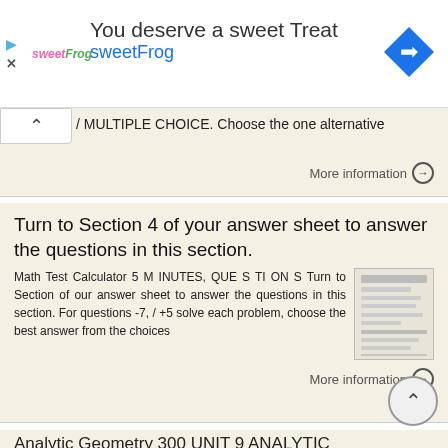[Figure (other): Advertisement banner for sweetFrog frozen yogurt: 'You deserve a sweet Treat' with sweetFrog logo and Google Maps navigation icon]
MULTIPLE CHOICE. Choose the one alternative
More information →
Turn to Section 4 of your answer sheet to answer the questions in this section.
Math Test Calculator 5 MINUTES, QUESTIONS Turn to Section of our answer sheet to answer the questions in this section. For questions -7, / +5 solve each problem, choose the best answer from the choices
More information →
Analytic Geometry 300 UNIT 9 ANALYTIC